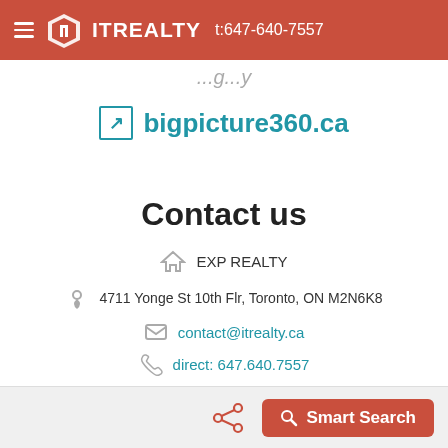IT REALTY t:647-640-7557
bigpicture360.ca
Contact us
EXP REALTY
4711 Yonge St 10th Flr, Toronto, ON M2N6K8
contact@itrealty.ca
direct: 647.640.7557
office: 866.530.7737
fax:
Smart Search